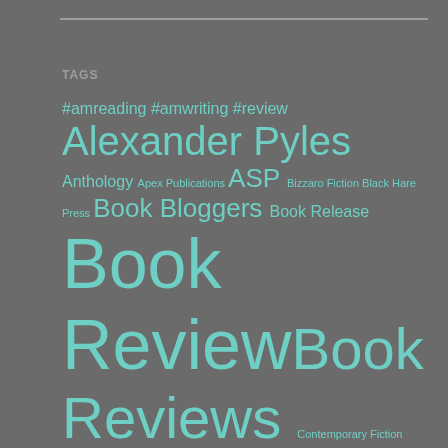TAGS
#amreading #amwriting #review Alexander Pyles Anthology Apex Publications ASP Bizzaro Fiction Black Hare Press Book Bloggers Book Release Book Review Book Reviews Contemporary Fiction Cosmic Horror Fantasy Fiction FUTURES Graphic Novel Hard Science Fiction Horror Hugo Hugo Finalists Literary Memoir Micro Fiction N.k. Jemisin Nanowrimo Nonfiction Novel Novella Novellas Post Apocalyptic Pyles of Books Radix Media Science